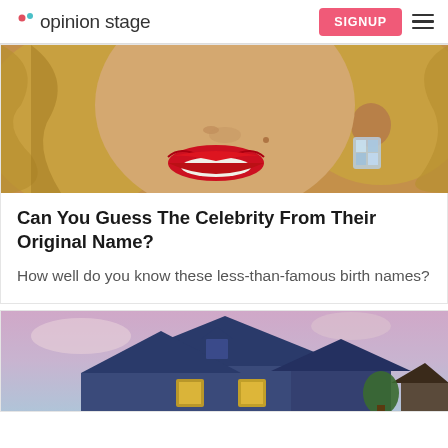opinion stage | SIGNUP
[Figure (photo): Close-up photo of a woman with blonde hair, red lips, and a jeweled earring]
Can You Guess The Celebrity From Their Original Name?
How well do you know these less-than-famous birth names?
[Figure (photo): Photo of a dark blue house with lit windows against a purple-pink sky at dusk]